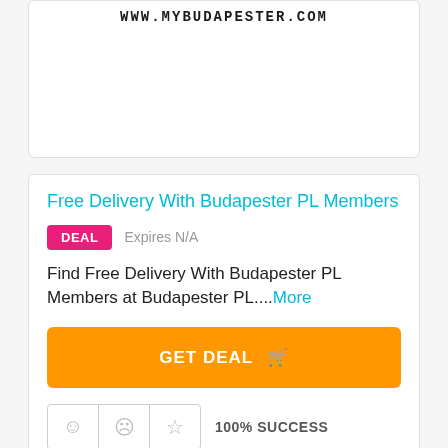[Figure (screenshot): Partial top card showing www.mybudapester.com website URL in bold monospaced text]
Free Delivery With Budapester PL Members
DEAL   Expires N/A
Find Free Delivery With Budapester PL Members at Budapester PL....More
GET DEAL 🛒
100% SUCCESS
16 Used - 0 Today
[Figure (screenshot): Partial bottom card, mostly empty white area]